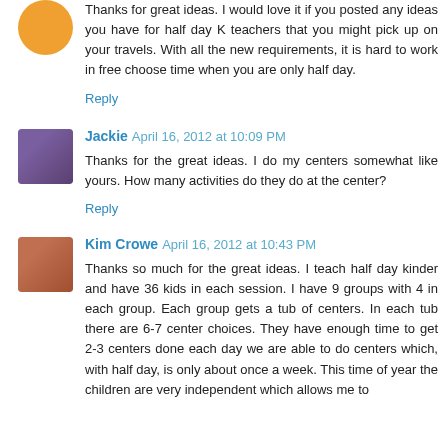Thanks for great ideas. I would love it if you posted any ideas you have for half day K teachers that you might pick up on your travels. With all the new requirements, it is hard to work in free choose time when you are only half day.
Reply
Jackie  April 16, 2012 at 10:09 PM
Thanks for the great ideas. I do my centers somewhat like yours. How many activities do they do at the center?
Reply
Kim Crowe  April 16, 2012 at 10:43 PM
Thanks so much for the great ideas. I teach half day kinder and have 36 kids in each session. I have 9 groups with 4 in each group. Each group gets a tub of centers. In each tub there are 6-7 center choices. They have enough time to get 2-3 centers done each day we are able to do centers which, with half day, is only about once a week. This time of year the children are very independent which allows me to